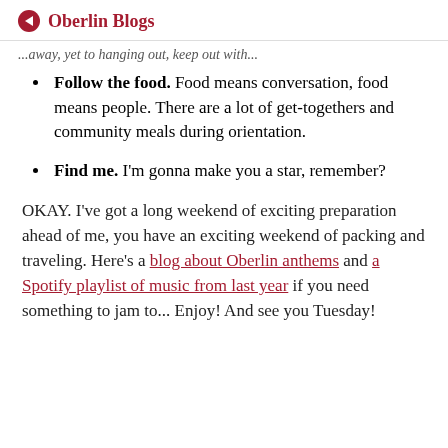Oberlin Blogs
...away, yet to hanging out, keep out with...
Follow the food. Food means conversation, food means people. There are a lot of get-togethers and community meals during orientation.
Find me. I'm gonna make you a star, remember?
OKAY. I've got a long weekend of exciting preparation ahead of me, you have an exciting weekend of packing and traveling. Here's a blog about Oberlin anthems and a Spotify playlist of music from last year if you need something to jam to... Enjoy! And see you Tuesday!